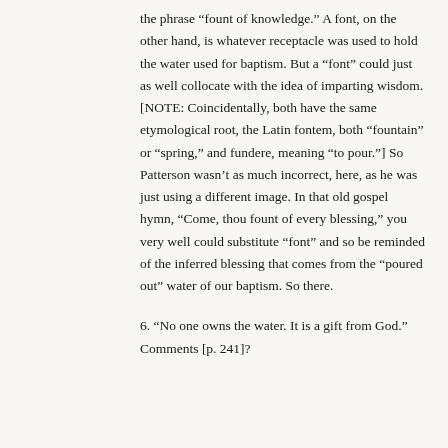the phrase “fount of knowledge.” A font, on the other hand, is whatever receptacle was used to hold the water used for baptism. But a “font” could just as well collocate with the idea of imparting wisdom. [NOTE: Coincidentally, both have the same etymological root, the Latin fontem, both “fountain” or “spring,” and fundere, meaning “to pour.”] So Patterson wasn’t as much incorrect, here, as he was just using a different image. In that old gospel hymn, “Come, thou fount of every blessing,” you very well could substitute “font” and so be reminded of the inferred blessing that comes from the “poured out” water of our baptism. So there.
6. “No one owns the water. It is a gift from God.” Comments [p. 241]?